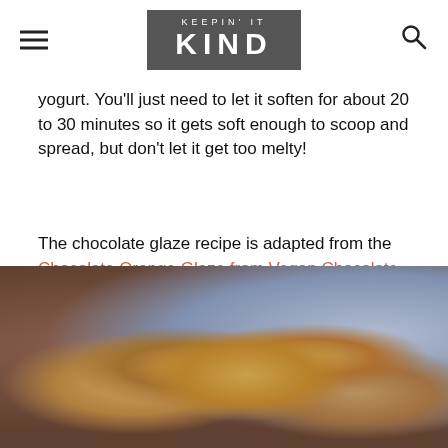KEEPIN' IT KIND
yogurt. You'll just need to let it soften for about 20 to 30 minutes so it gets soft enough to scoop and spread, but don't let it get too melty!
The chocolate glaze recipe is adapted from the Chocolate Orange Glaze from Vegan Chocolate by Fran Costigan.
[Figure (photo): Blurred close-up photo of chocolate dessert with golden coin-shaped decorations and a blue plate in the background]